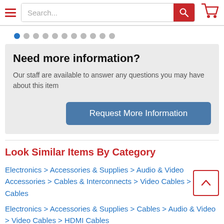Search... [search bar with red button] [cart icon]
[Figure (infographic): Carousel pagination dots — one blue active dot followed by ten grey dots]
Need more information?
Our staff are available to answer any questions you may have about this item
[Request More Information button]
Look Similar Items By Category
Electronics > Accessories & Supplies > Audio & Video Accessories > Cables & Interconnects > Video Cables > HDMI Cables
Electronics > Accessories & Supplies > Cables > Audio & Video > Video Cables > HDMI Cables
Electronics > Cameras & Photo > Accessories > ...